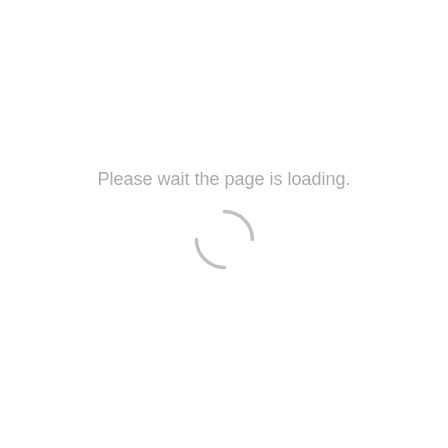Please wait the page is loading.
[Figure (other): Circular loading spinner graphic, light gray, partial arc suggesting rotation]